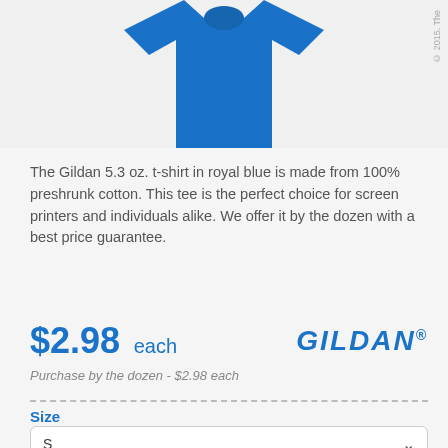[Figure (photo): Blue Gildan t-shirt product photo on light gray background]
The Gildan 5.3 oz. t-shirt in royal blue is made from 100% preshrunk cotton. This tee is the perfect choice for screen printers and individuals alike. We offer it by the dozen with a best price guarantee.
$2.98 each
[Figure (logo): GILDAN brand logo in blue italic bold text]
Purchase by the dozen - $2.98 each
Size
S
Quantity
1